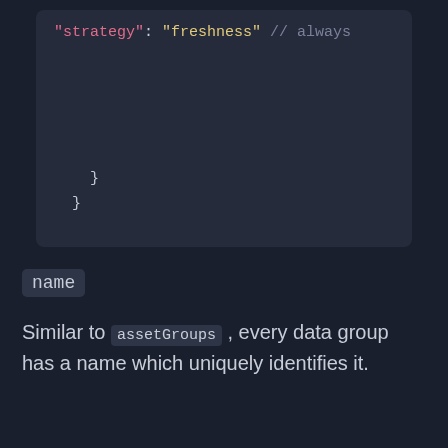[Figure (screenshot): Code block showing JSON/config snippet with 'strategy': 'freshness' // always comment, followed by two closing braces]
name
Similar to assetGroups , every data group has a name which uniquely identifies it.